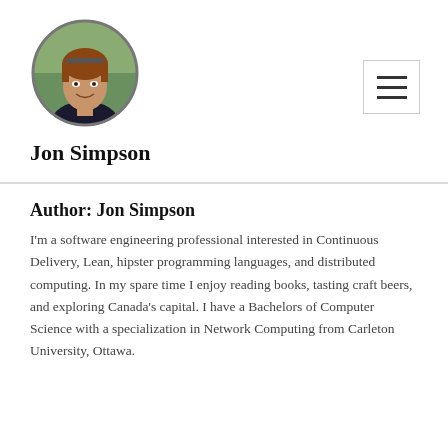[Figure (photo): Circular profile photo of Jon Simpson, a man with reddish-brown hair, wearing a dark shirt, smiling slightly]
Jon Simpson
Author: Jon Simpson
I'm a software engineering professional interested in Continuous Delivery, Lean, hipster programming languages, and distributed computing. In my spare time I enjoy reading books, tasting craft beers, and exploring Canada's capital. I have a Bachelors of Computer Science with a specialization in Network Computing from Carleton University, Ottawa.